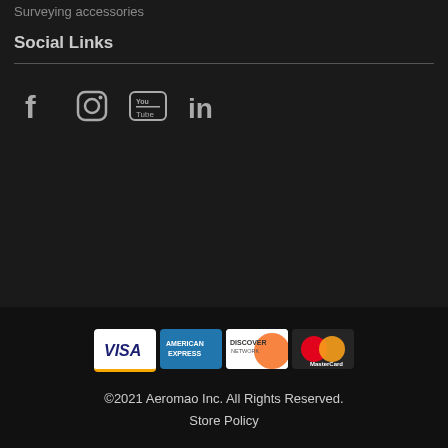Surveying accessories
Social Links
[Figure (illustration): Social media icons: Facebook, Instagram, YouTube, LinkedIn]
[Figure (illustration): Payment method logos: Visa, American Express, Discover, MasterCard]
©2021 Aeromao Inc. All Rights Reserved.
Store Policy